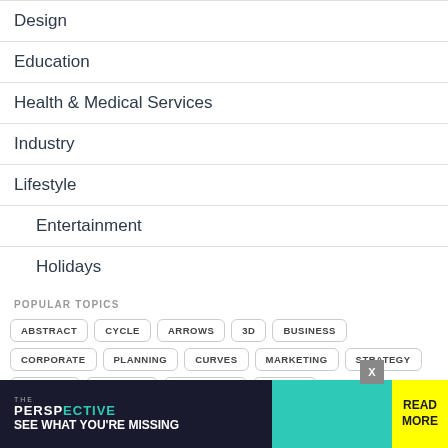Design
Education
Health & Medical Services
Industry
Lifestyle
Entertainment
Holidays
POPULAR TOPICS
ABSTRACT  CYCLE  ARROWS  3D  BUSINESS  CORPORATE  PLANNING  CURVES  MARKETING  STRATEGY  TIMELINE  PROCESS  EDUCATION  CHARTS
[Figure (other): Advertisement banner for 'The Perspective' publication with text 'SEE WHAT YOU'RE MISSING' and a yellow READ MORE button]